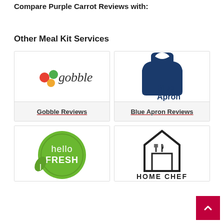Compare Purple Carrot Reviews with:
Other Meal Kit Services
[Figure (logo): Gobble meal kit service logo — script text 'gobble' with colorful dot cluster]
Gobble Reviews
[Figure (logo): Blue Apron meal kit service logo — dark blue apron icon with 'Blue Apron' text]
Blue Apron Reviews
[Figure (logo): HelloFresh meal kit service logo — green circular badge with 'hello FRESH' text]
[Figure (logo): Home Chef meal kit service logo — house outline with fork and knife, 'HOME CHEF' text]